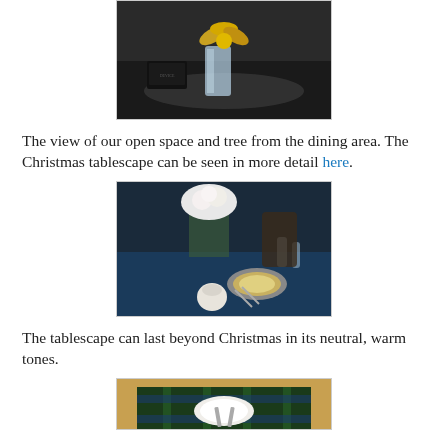[Figure (photo): Dark interior photo showing a crystal vase with large gold decorative leaves/flower, with a black electronic device visible in the background on a reflective surface.]
The view of our open space and tree from the dining area. The Christmas tablescape can be seen in more detail here.
[Figure (photo): Christmas tablescape with white floral centerpiece, blue tablecloth, place settings with silver charger plates, crystal glassware, and a small lace gift bag, set in a dining room.]
The tablescape can last beyond Christmas in its neutral, warm tones.
[Figure (photo): Top-down view of a tartan/plaid tablecloth in blue, green, and black with white place settings and silverware visible.]